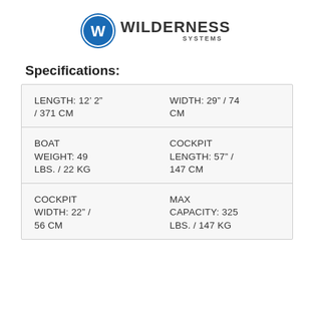[Figure (logo): Wilderness Systems logo with blue circle W icon and stylized WILDERNESS SYSTEMS text]
Specifications:
| LENGTH: 12’ 2” / 371 CM | WIDTH: 29” / 74 CM |
| BOAT WEIGHT: 49 LBS. / 22 KG | COCKPIT LENGTH: 57” / 147 CM |
| COCKPIT WIDTH: 22” / 56 CM | MAX CAPACITY: 325 LBS. / 147 KG |